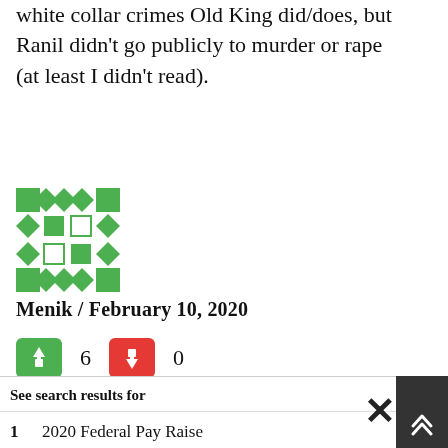white collar crimes Old King did/does, but Ranil didn't go publicly to murder or rape (at least I didn't read).
[Figure (other): Green decorative avatar/profile icon made of diamond and square shapes in a grid pattern]
Menik / February 10, 2020
[Figure (other): Thumbs up button (green, count: 6) and thumbs down button (red, count: 0)]
Regime after regime, party after party, politician after politician, Sri Lanka is cursed with corrupt, unpatriotic leaders, who make b...
See search results for
1   2020 Federal Pay Raise
2   Best Call Center Softwares Solution Info
Yahoo! Search | Sponsored